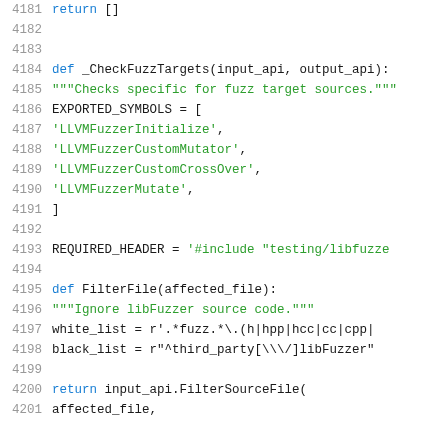[Figure (screenshot): Source code snippet showing Python functions _CheckFuzzTargets and FilterFile with line numbers 4181-4201]